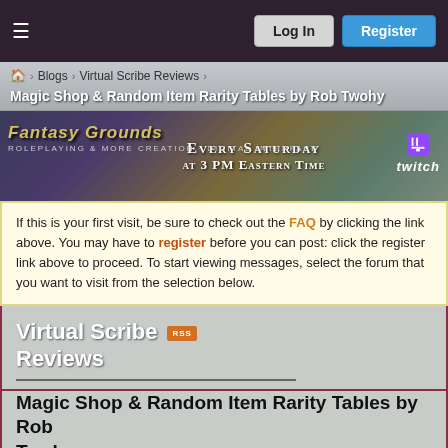≡   Log In   Register
Blogs › Virtual Scribe Reviews ›
Magic Shop & Random Item Rarity Tables by Rob Twohy
[Figure (photo): Fantasy Grounds banner ad: 'Every Saturday at 3 PM Eastern Time' with Twitch logo]
If this is your first visit, be sure to check out the FAQ by clicking the link above. You may have to register before you can post: click the register link above to proceed. To start viewing messages, select the forum that you want to visit from the selection below.
Virtual Scribe Reviews
Magic Shop & Random Item Rarity Tables by Rob Twohy
by LordEntrails, January 4th, 2017 at 05:22 (17503 Views)   3 Comments
http://www.dmsguild.com/product/1976...-Rarity-Tables
Five-star review / Stars 40/50 Points